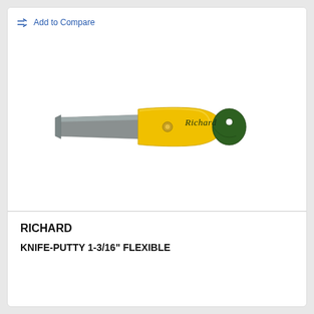Add to Compare
[Figure (photo): A Richard brand putty knife with a wide flat metal blade and yellow/green plastic handle. The handle has a metal rivet and a hole for hanging. The brand name 'Richard' is printed in cursive on the handle.]
RICHARD
KNIFE-PUTTY 1-3/16" FLEXIBLE